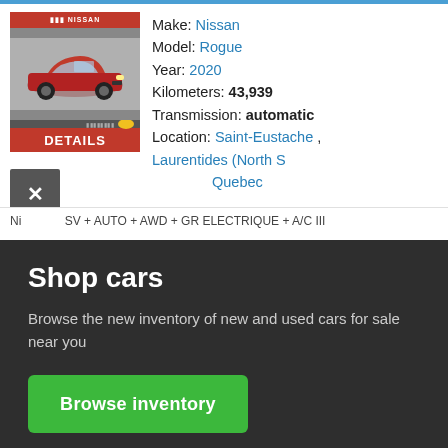[Figure (photo): Nissan car dealership listing image showing a red Nissan Rogue SUV with DETAILS button below]
Make: Nissan
Model: Rogue
Year: 2020
Kilometers: 43,939
Transmission: automatic
Location: Saint-Eustache , Laurentides (North S Quebec
Ni SV + AUTO + AWD + GR ELECTRIQUE + A/C III
Shop cars
Browse the new inventory of new and used cars for sale near you
Browse inventory